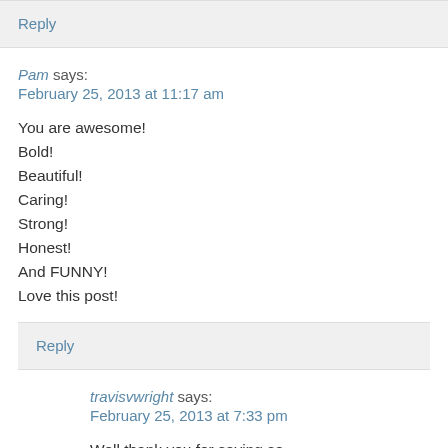Reply
Pam says:
February 25, 2013 at 11:17 am
You are awesome!
Bold!
Beautiful!
Caring!
Strong!
Honest!
And FUNNY!
Love this post!
Reply
travisvwright says:
February 25, 2013 at 7:33 pm
Well thank you for saying so.
Reply